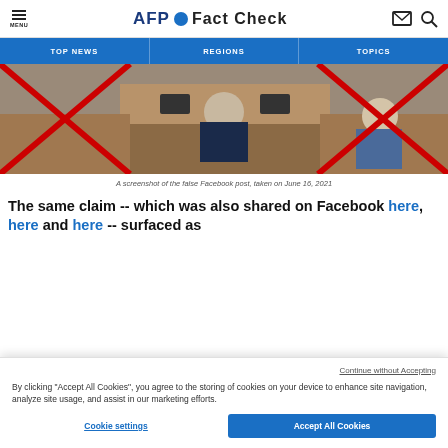AFP Fact Check - MENU | TOP NEWS | REGIONS | TOPICS
[Figure (screenshot): A screenshot of a parliamentary or government chamber session, with two red X marks crossed over people seated at desks. The image is used to illustrate a false Facebook post.]
A screenshot of the false Facebook post, taken on June 16, 2021
The same claim -- which was also shared on Facebook here, here and here -- surfaced as
Continue without Accepting
By clicking “Accept All Cookies”, you agree to the storing of cookies on your device to enhance site navigation, analyze site usage, and assist in our marketing efforts.
Cookie settings | Accept All Cookies